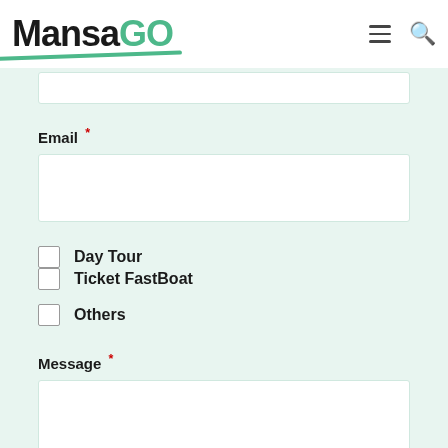[Figure (logo): MansaGO logo with black bold 'Mansa' text and green bold 'GO' text, green underline swoosh below]
Email *
Day Tour
Ticket FastBoat
Others
Message *